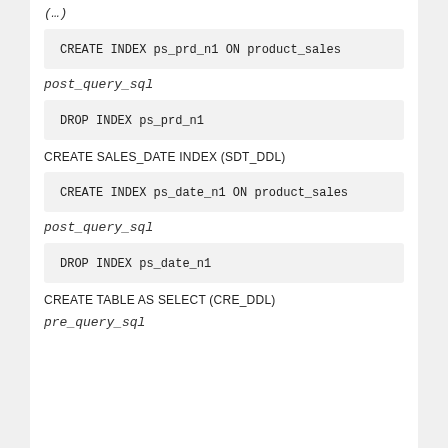post_query_sql (partial, cut off at top)
CREATE INDEX ps_prd_n1 ON product_sales
post_query_sql
DROP INDEX ps_prd_n1
CREATE SALES_DATE INDEX (SDT_DDL)
CREATE INDEX ps_date_n1 ON product_sales
post_query_sql
DROP INDEX ps_date_n1
CREATE TABLE AS SELECT (CRE_DDL)
pre_query_sql